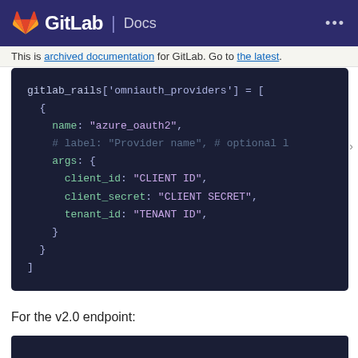GitLab Docs
This is archived documentation for GitLab. Go to the latest.
[Figure (screenshot): Code block showing gitlab_rails omniauth_providers configuration for azure_oauth2 with name, args including client_id, client_secret, tenant_id fields]
For the v2.0 endpoint: